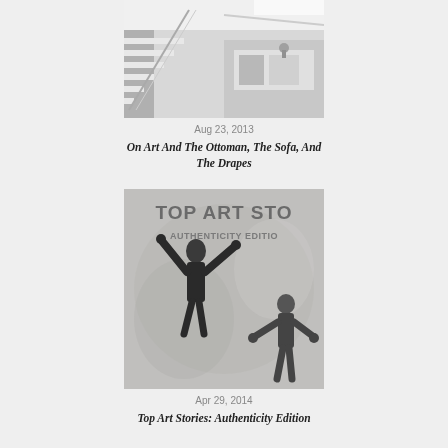[Figure (photo): Black and white photo of a modern interior with staircase and furniture]
Aug 23, 2013
On Art And The Ottoman, The Sofa, And The Drapes
[Figure (photo): Black and white image of street art figure with arms raised, text reads TOP ART STO and AUTHENTICITY EDITIO]
Apr 29, 2014
Top Art Stories: Authenticity Edition